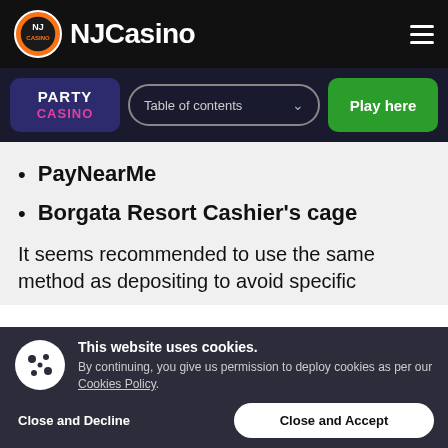NJCasino
[Figure (logo): NJCasino logo with orange circular emblem and white NJCasino text]
[Figure (logo): Party Casino logo with purple background and pink text]
Table of contents
Play here
PayNearMe
Borgata Resort Cashier's cage
It seems recommended to use the same method as depositing to avoid specific
This website uses cookies. By continuing, you give us permission to deploy cookies as per our Cookies Policy.
Close and Decline
Close and Accept